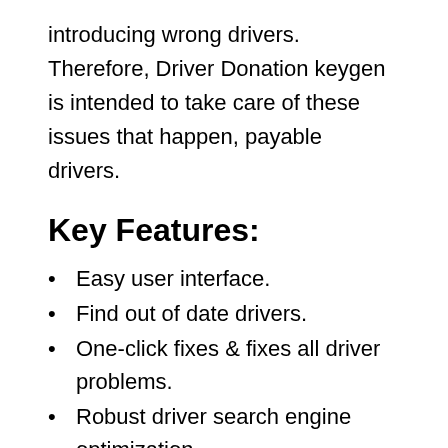introducing wrong drivers. Therefore, Driver Donation keygen is intended to take care of these issues that happen, payable drivers.
Key Features:
Easy user interface.
Find out of date drivers.
One-click fixes & fixes all driver problems.
Robust driver search engine optimization.
Keep your computer and devices in prime shape.
Download and replace drivers in your system efficiently.
One-stop handle: backup, restore, reboot, reboot, and more.